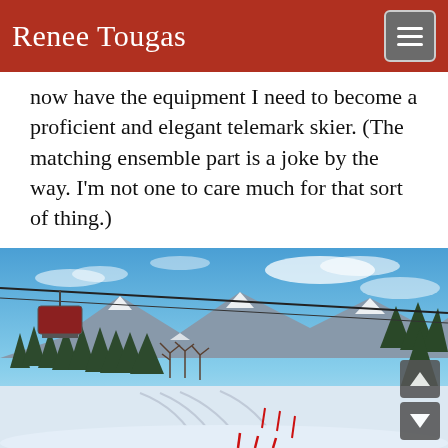Renee Tougas
now have the equipment I need to become a proficient and elegant telemark skier. (The matching ensemble part is a joke by the way. I'm not one to care much for that sort of thing.)
[Figure (photo): Winter ski resort scene viewed from a chairlift. Snow-covered ski run in foreground, dense conifer and deciduous trees on both sides, snow-dusted mountains in background under a blue sky with light clouds. Chairlift cables and a chair visible in the upper left. Red slalom poles visible on the run.]